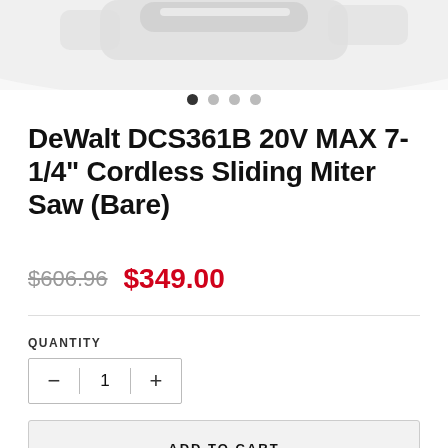[Figure (photo): Partial view of a DeWalt cordless miter saw product image cropped at the top of the page]
DeWalt DCS361B 20V MAX 7-1/4" Cordless Sliding Miter Saw (Bare)
$606.96  $349.00
QUANTITY
− 1 +
ADD TO CART